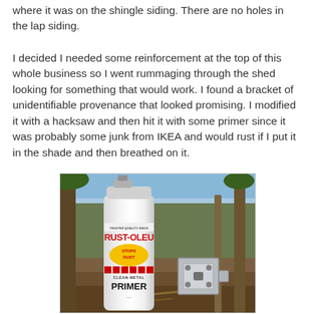where it was on the shingle siding. There are no holes in the lap siding.
I decided I needed some reinforcement at the top of this whole business so I went rummaging through the shed looking for something that would work. I found a bracket of unidentifiable provenance that looked promising. I modified it with a hacksaw and then hit it with some primer since it was probably some junk from IKEA and would rust if I put it in the shade and then breathed on it.
[Figure (photo): Photo of a Rust-Oleum Clean Metal Primer spray can held outdoors in a wooded/forested area, with a metal bracket visible to the right on the ground.]